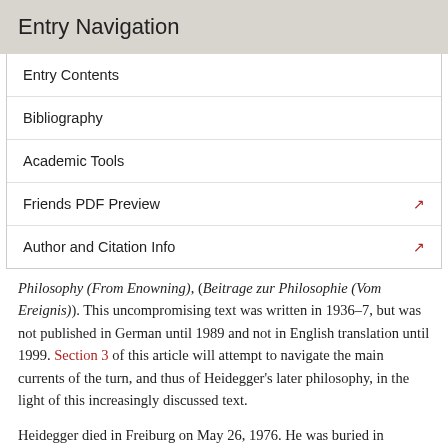Entry Navigation
Entry Contents
Bibliography
Academic Tools
Friends PDF Preview
Author and Citation Info
Philosophy (From Enowning), (Beitrage zur Philosophie (Vom Ereignis)). This uncompromising text was written in 1936–7, but was not published in German until 1989 and not in English translation until 1999. Section 3 of this article will attempt to navigate the main currents of the turn, and thus of Heidegger's later philosophy, in the light of this increasingly discussed text.
Heidegger died in Freiburg on May 26, 1976. He was buried in Messkirch.
3. Being and Ti…